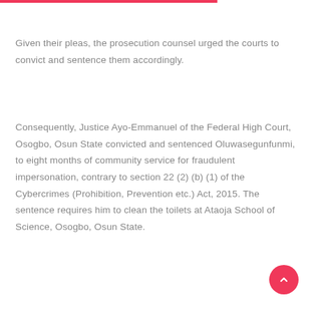Given their pleas, the prosecution counsel urged the courts to convict and sentence them accordingly.
Consequently, Justice Ayo-Emmanuel of the Federal High Court, Osogbo, Osun State convicted and sentenced Oluwasegunfunmi, to eight months of community service for fraudulent impersonation, contrary to section 22 (2) (b) (1) of the Cybercrimes (Prohibition, Prevention etc.) Act, 2015. The sentence requires him to clean the toilets at Ataoja School of Science, Osogbo, Osun State.